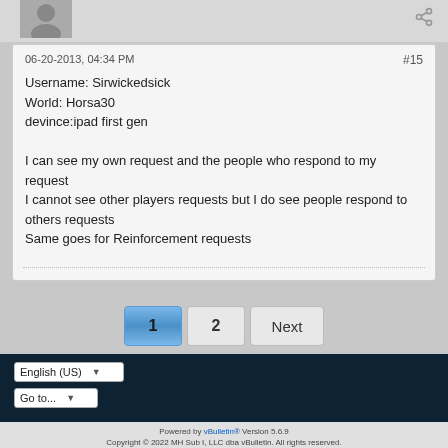06-20-2013, 04:34 PM
#15
Username: Sirwickedsick
World: Horsa30
devince:ipad first gen

I can see my own request and the people who respond to my request
I cannot see other players requests but I do see people respond to others requests
Same goes for Reinforcement requests
1
2
Next
English (US)
Go to...
Powered by vBulletin® Version 5.6.9
Copyright © 2022 MH Sub I, LLC dba vBulletin. All rights reserved.
All times are GMT. This page was generated at 03:07 PM.